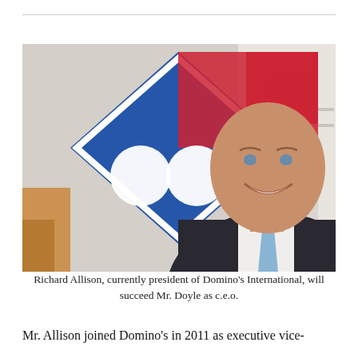[Figure (photo): Richard Allison, a bald man in a dark pinstripe suit with a light blue tie, smiling in front of the Domino's Pizza blue and red logo sign.]
Richard Allison, currently president of Domino's International, will succeed Mr. Doyle as c.e.o.
Mr. Allison joined Domino's in 2011 as executive vice-